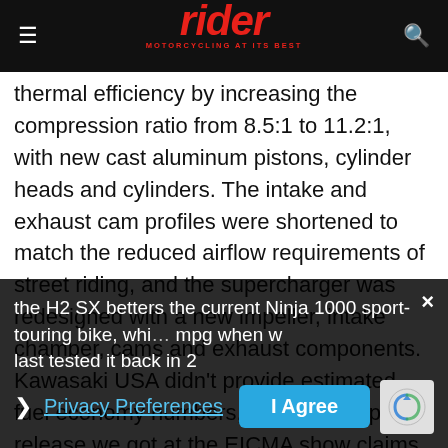rider MOTORCYCLING AT ITS BEST
thermal efficiency by increasing the compression ratio from 8.5:1 to 11.2:1, with new cast aluminum pistons, cylinder heads and cylinders. The intake and exhaust cam profiles were shortened to match the reduced airflow requirements of street riding, and the supercharger was redesigned with a new impeller, intake chamber, cams and exhaust components. Kawasaki USA didn't provide estimated fuel economy numbers, but the European release we got at the EICMA show claims the H2 SX betters the current Ninja 1000 sport-touring bike, whi… mpg when we last tested it back in 2…
Privacy Preferences
I Agree